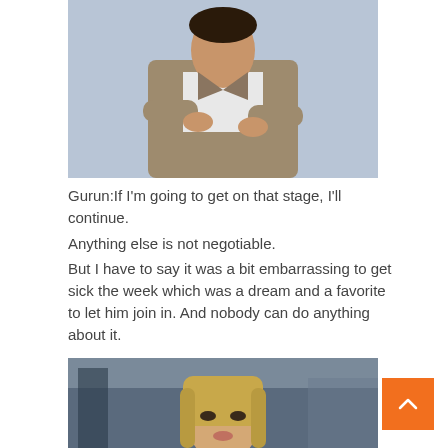[Figure (photo): Woman in beige/tan blazer over white t-shirt, arms crossed, standing against a light blue-grey background]
Gurun:If I'm going to get on that stage, I'll continue. Anything else is not negotiable. But I have to say it was a bit embarrassing to get sick the week which was a dream and a favorite to let him join in. And nobody can do anything about it.
[Figure (photo): Young person with blonde hair, partial face visible, in a busy indoor setting with blurred background]